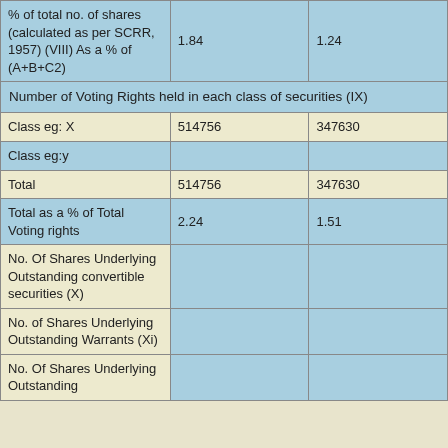|  | Col2 | Col3 |
| --- | --- | --- |
| % of total no. of shares (calculated as per SCRR, 1957) (VIII) As a % of (A+B+C2) | 1.84 | 1.24 |
| Number of Voting Rights held in each class of securities (IX) |  |  |
| Class eg: X | 514756 | 347630 |
| Class eg:y |  |  |
| Total | 514756 | 347630 |
| Total as a % of Total Voting rights | 2.24 | 1.51 |
| No. Of Shares Underlying Outstanding convertible securities (X) |  |  |
| No. of Shares Underlying Outstanding Warrants (Xi) |  |  |
| No. Of Shares Underlying Outstanding |  |  |